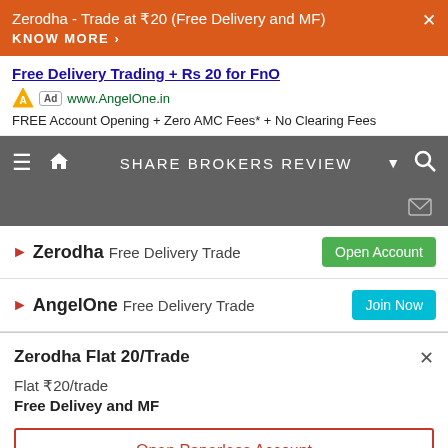Zerodha - Trade at ₹20 (Free Delivery and MF)  KNOW MORE ›
Free Delivery Trading + Rs 20 for FnO
Ad  www.AngelOne.in
FREE Account Opening + Zero AMC Fees* + No Clearing Fees
SHARE BROKERS REVIEW
► Zerodha Free Delivery Trade  Open Account
► AngelOne Free Delivery Trade  Join Now
Zerodha Flat 20/Trade
Flat ₹20/trade
Free Delivey and MF
Open Paperless Account